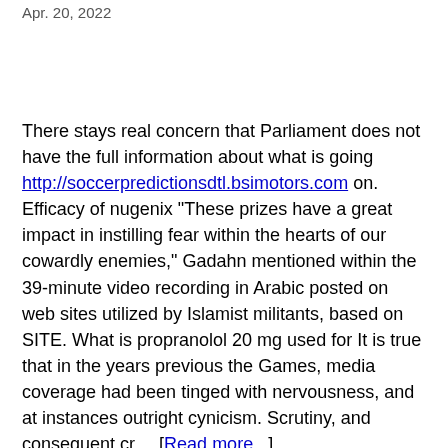Apr. 20, 2022
There stays real concern that Parliament does not have the full information about what is going http://soccerpredictionsdtl.bsimotors.com on. Efficacy of nugenix "These prizes have a great impact in instilling fear within the hearts of our cowardly enemies," Gadahn mentioned within the 39-minute video recording in Arabic posted on web sites utilized by Islamist militants, based on SITE. What is propranolol 20 mg used for It is true that in the years previous the Games, media coverage had been tinged with nervousness, and at instances outright cynicism. Scrutiny, and consequent cr.... [Read more...]